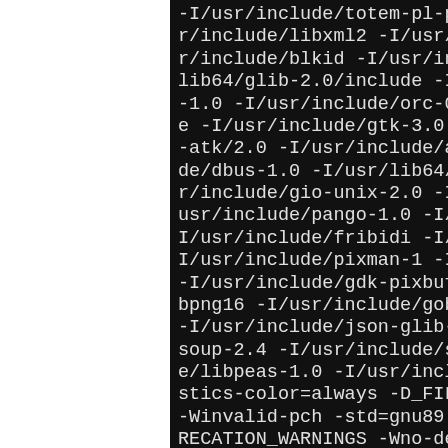-I/usr/include/totem-pl-parser/include/libxml2 -I/usr/include/blkid -I/usr/lib64/glib-2.0/include -I/...-1.0 -I/usr/include/orc-0 .e -I/usr/include/gtk-3.0 --atk/2.0 -I/usr/include/at/de/dbus-1.0 -I/usr/lib64/dr/include/gio-unix-2.0 -I/...usr/include/pango-1.0 -I/uI/usr/include/fribidi -I/uI/usr/include/pixman-1 -I/...-I/usr/include/gdk-pixbuf-bpng16 -I/usr/include/gob-I/usr/include/json-glib-soup-2.4 -I/usr/include/sye/libpeas-1.0 -I/usr/includstics-color=always -D_FILE-Winvalid-pch -std=gnu89 -RECATION_WARNINGS -Wno-dep-Wformat=2 -Wno-format-nomlarations -Wmissing-proto-Wpointer-arith -Wcast-alis -fPIC -O2 -fwrapv -pipe